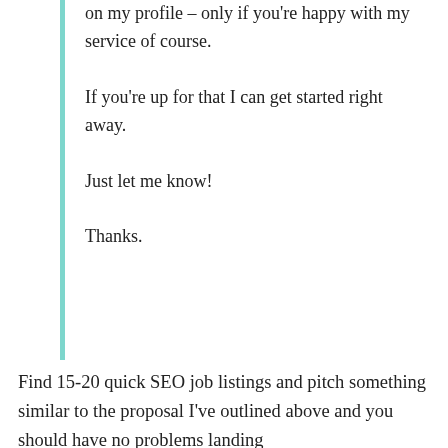on my profile – only if you're happy with my service of course.
If you're up for that I can get started right away.
Just let me know!
Thanks.
Find 15-20 quick SEO job listings and pitch something similar to the proposal I've outlined above and you should have no problems landing